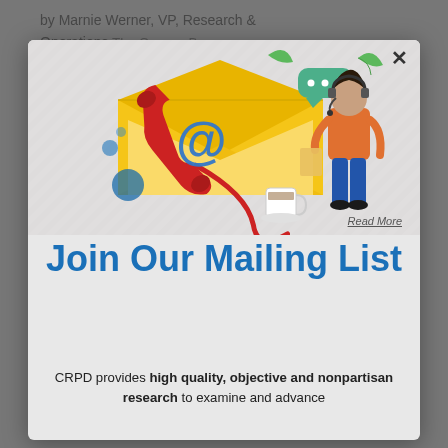by Marnie Werner, VP, Research & Operations The Census Bureau released the first round of data from the 2020 census last week, and it was a relief. These are the baseline reports, the new 2020 population of each state, which is used to determine how many seats each state will have in the US House.
[Figure (illustration): Illustration of an open envelope with a telephone handset, @ symbol, speech bubble with dots, green leaves, and a woman in an orange shirt and blue pants standing next to the envelope holding items.]
Join Our Mailing List
CRPD provides high quality, objective and nonpartisan research to examine and advance